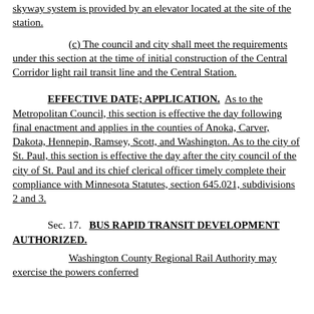skyway system is provided by an elevator located at the site of the station.
(c) The council and city shall meet the requirements under this section at the time of initial construction of the Central Corridor light rail transit line and the Central Station.
EFFECTIVE DATE; APPLICATION. As to the Metropolitan Council, this section is effective the day following final enactment and applies in the counties of Anoka, Carver, Dakota, Hennepin, Ramsey, Scott, and Washington. As to the city of St. Paul, this section is effective the day after the city council of the city of St. Paul and its chief clerical officer timely complete their compliance with Minnesota Statutes, section 645.021, subdivisions 2 and 3.
Sec. 17. BUS RAPID TRANSIT DEVELOPMENT AUTHORIZED.
Washington County Regional Rail Authority may exercise the powers conferred